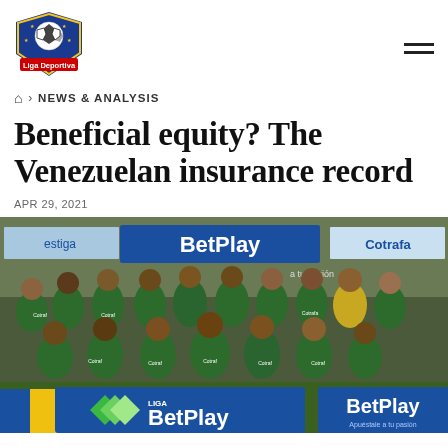[Figure (logo): Liga Deportiva logo: soccer ball with shield and text 'Liga Deportiva']
🏠 › NEWS & ANALYSIS
Beneficial equity? The Venezuelan insurance record
APR 29, 2021
[Figure (photo): Soccer team photo: players in green jerseys with Cotrafa sponsor posing together in front of BetPlay and Cotrafa banners on a football pitch. Liga BetPlay and BetPlay logos visible at bottom.]